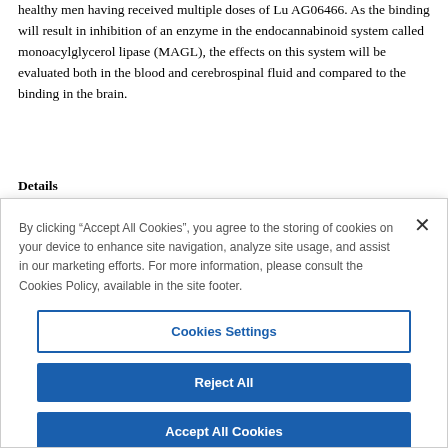healthy men having received multiple doses of Lu AG06466. As the binding will result in inhibition of an enzyme in the endocannabinoid system called monoacylglycerol lipase (MAGL), the effects on this system will be evaluated both in the blood and cerebrospinal fluid and compared to the binding in the brain.
Details
| Condition | Healthy Participants |
| --- | --- |
| Treatment | Lu AG06466 |
By clicking “Accept All Cookies”, you agree to the storing of cookies on your device to enhance site navigation, analyze site usage, and assist in our marketing efforts. For more information, please consult the Cookies Policy, available in the site footer.
Cookies Settings
Reject All
Accept All Cookies